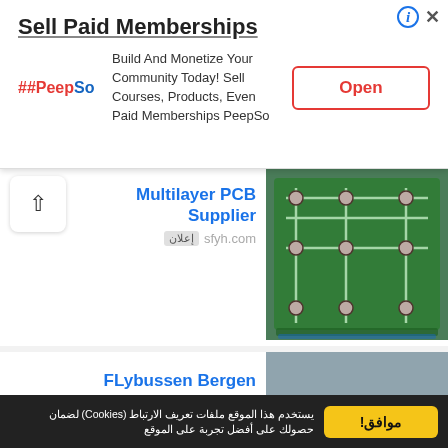[Figure (screenshot): Top ad banner: PeepSo logo, 'Sell Paid Memberships' title, description text, Open button]
[Figure (screenshot): Multilayer PCB Supplier ad card with PCB image, sfyh.com source]
[Figure (screenshot): FLybussen Bergen ad card with bus/people image, Flybussen Bergen source]
[Figure (screenshot): Catamaran Tours Santorini ad card with sailing image, Renieris Sailing Center source]
يستخدم هذا الموقع ملفات تعريف الارتباط (Cookies) لضمان حصولك على أفضل تجربة على الموقع
موافق!